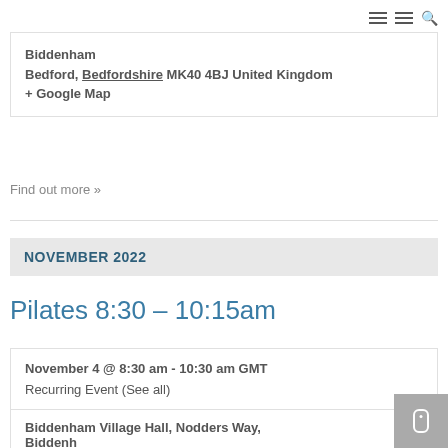Biddenham
Bedford, Bedfordshire MK40 4BJ United Kingdom
+ Google Map
Find out more »
NOVEMBER 2022
Pilates 8:30 – 10:15am
November 4 @ 8:30 am - 10:30 am GMT
Recurring Event (See all)
Biddenham Village Hall, Nodders Way, Biddenham